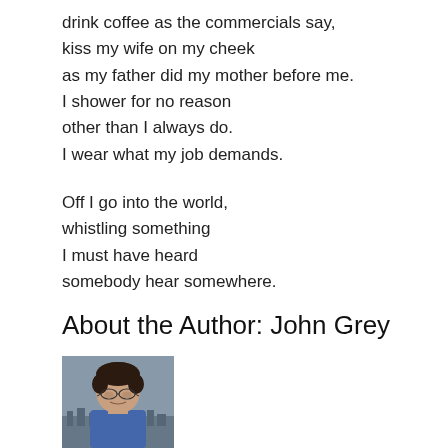drink coffee as the commercials say,
kiss my wife on my cheek
as my father did my mother before me.
I shower for no reason
other than I always do.
I wear what my job demands.
Off I go into the world,
whistling something
I must have heard
somebody hear somewhere.
About the Author: John Grey
[Figure (photo): Portrait photo of John Grey, a person with dark curly hair wearing a blue shirt, photographed outdoors with a cityscape in the background.]